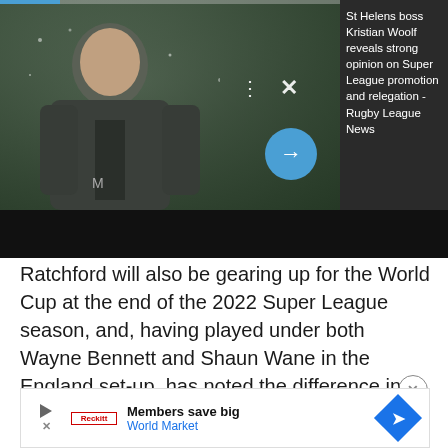[Figure (screenshot): Video thumbnail showing a rugby coach in a dark jacket, with a progress bar at top, menu dots and X close icon overlay, and a blue circular arrow/play button. Sidebar panel with dark background shows text about St Helens boss Kristian Woolf.]
St Helens boss Kristian Woolf reveals strong opinion on Super League promotion and relegation - Rugby League News
Ratchford will also be gearing up for the World Cup at the end of the 2022 Super League season, and, having played under both Wayne Bennett and Shaun Wane in the England set-up, has noted the difference in the two head coaches.
[Figure (screenshot): Advertisement banner for World Market: 'Members save big / World Market' with play triangle icon, X icon, red logo text, and blue diamond navigation arrow icon on the right.]